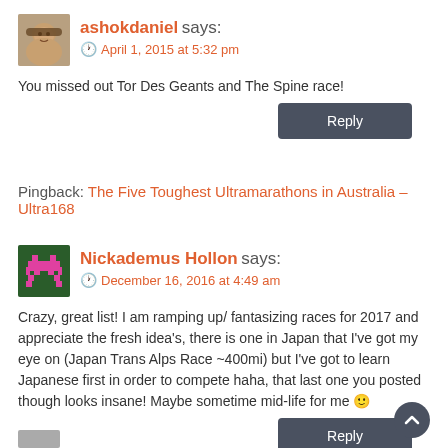[Figure (photo): Avatar photo of ashokdaniel, person wearing a hat]
ashokdaniel says:
April 1, 2015 at 5:32 pm
You missed out Tor Des Geants and The Spine race!
Reply
Pingback: The Five Toughest Ultramarathons in Australia – Ultra168
[Figure (illustration): Avatar pixel art of Nickademus Hollon, pink space invader style character on dark green background]
Nickademus Hollon says:
December 16, 2016 at 4:49 am
Crazy, great list! I am ramping up/ fantasizing races for 2017 and appreciate the fresh idea's, there is one in Japan that I've got my eye on (Japan Trans Alps Race ~400mi) but I've got to learn Japanese first in order to compete haha, that last one you posted though looks insane! Maybe sometime mid-life for me 🙂
Reply